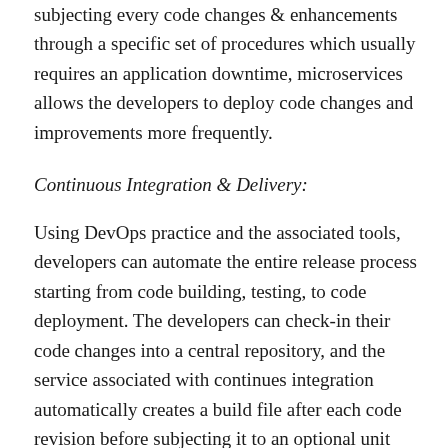subjecting every code changes & enhancements through a specific set of procedures which usually requires an application downtime, microservices allows the developers to deploy code changes and improvements more frequently.
Continuous Integration & Delivery:
Using DevOps practice and the associated tools, developers can automate the entire release process starting from code building, testing, to code deployment. The developers can check-in their code changes into a central repository, and the service associated with continues integration automatically creates a build file after each code revision before subjecting it to an optional unit test which identifies errors. The continuous delivery helps in deploying the build file automatically in the staging environment and requires a manual intervention for deploying in live production. DevOps eliminates most of the manual intervention that is often required during production